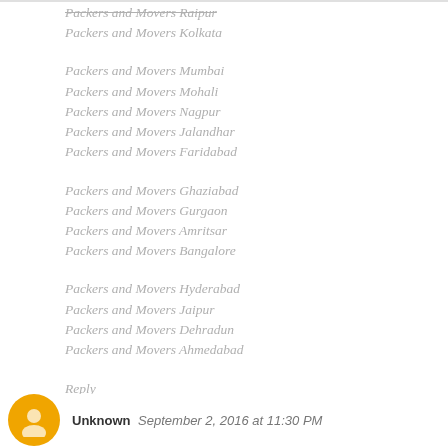Packers and Movers Raipur
Packers and Movers Kolkata
Packers and Movers Mumbai
Packers and Movers Mohali
Packers and Movers Nagpur
Packers and Movers Jalandhar
Packers and Movers Faridabad
Packers and Movers Ghaziabad
Packers and Movers Gurgaon
Packers and Movers Amritsar
Packers and Movers Bangalore
Packers and Movers Hyderabad
Packers and Movers Jaipur
Packers and Movers Dehradun
Packers and Movers Ahmedabad
Reply
Unknown  September 2, 2016 at 11:30 PM